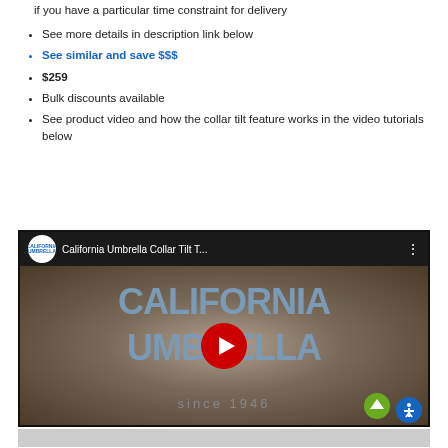if you have a particular time constraint for delivery
See more details in description link below
See similar and save $$$
$259
Bulk discounts available
See product video and how the collar tilt feature works in the video tutorials below
[Figure (screenshot): YouTube video thumbnail for California Umbrella Collar Tilt T... showing California Umbrella brand logo with text CALIFORNIA UMBRELLA since 1946 and a red play button in the center]